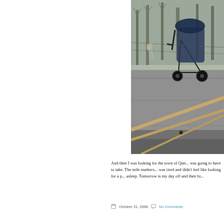[Figure (photo): Outdoor photo showing a baby stroller/pram on what appears to be a concrete or stone surface, with wooden sticks/poles visible, and bare trees in the background. The scene has an overcast, grey atmosphere.]
And then I was looking for the town of Qier... was going to have to take. The mile markers... was tired and didn't feel like looking for a p... asleep. Tomorrow is my day off and then fu...
October 31, 2008   No Comments